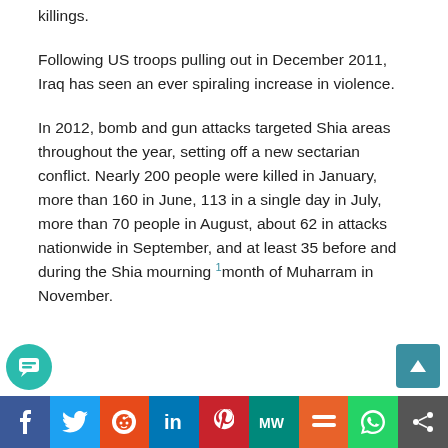killings.
Following US troops pulling out in December 2011, Iraq has seen an ever spiraling increase in violence.
In 2012, bomb and gun attacks targeted Shia areas throughout the year, setting off a new sectarian conflict. Nearly 200 people were killed in January, more than 160 in June, 113 in a single day in July, more than 70 people in August, about 62 in attacks nationwide in September, and at least 35 before and during the Shia mourning month of Muharram in November.
Social share bar: Facebook, Twitter, Reddit, LinkedIn, Pinterest, MW, Mix, WhatsApp, Share